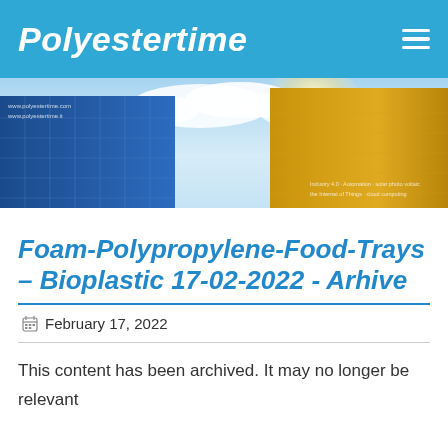Polyestertime
[Figure (photo): Banner image of two glass skyscraper buildings against a blue sky with sun flare. Small text reads: www.polyestertime.com, www.polyestertime.it, Industry 4.0, Automation, solar photo voltaic, the Internet of Things, cloud computing]
Foam-Polypropylene-Food-Trays – Bioplastic 17-02-2022 - Arhive
February 17, 2022
This content has been archived. It may no longer be relevant